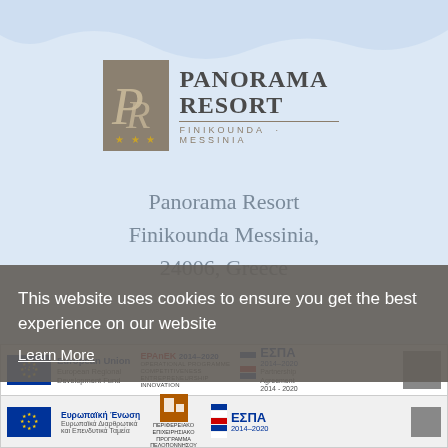[Figure (logo): Panorama Resort logo with PR monogram in gold/grey box, three gold stars, and text PANORAMA RESORT FINIKOUNDA - MESSINIA]
Panorama Resort
Finikounda Messinia,
24006, Greece
This website uses cookies to ensure you get the best experience on our website
Learn More
[Figure (logo): EU funding banner row 1: European Union European Regional Development Fund | EPAnEK 2014-2020 Operational Programme Competitiveness Entrepreneurship Innovation | ΕΣΠΑ 2014-2020 Partnership Agreement 2014-2020]
[Figure (logo): EU funding banner row 2: Ευρωπαϊκή Ένωση Ευρωπαϊκά Διαρθρωτικά και Επενδυτικά Ταμεία | Περιφερειακό Επιχειρησιακό Πρόγραμμα Πελοποννήσου | ΕΣΠΑ 2014-2020]